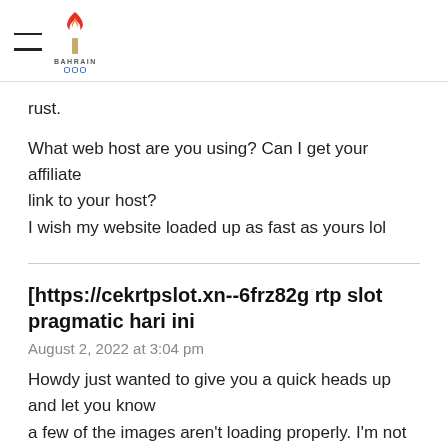BAHRAIN OOO
rust.
What web host are you using? Can I get your affiliate link to your host?
I wish my website loaded up as fast as yours lol
[https://cekrtpslot.xn--6frz82g rtp slot pragmatic hari ini
August 2, 2022 at 3:04 pm
Howdy just wanted to give you a quick heads up and let you know
a few of the images aren't loading properly. I'm not sure why but I think its
a linking issue. I've tried it in two different browsers and
both show the same result.